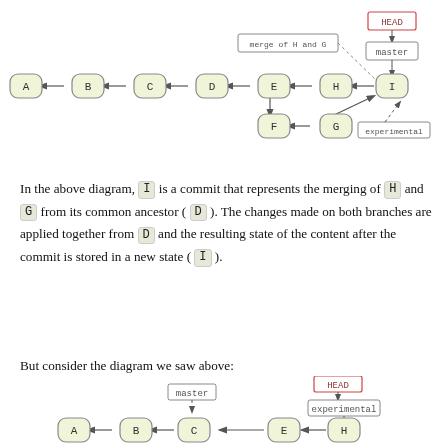[Figure (flowchart): Git commit graph showing commits A-B-C-D-E-H-I on master branch, F-G on experimental branch, merge commit I labeled 'merge of H and G', with HEAD and master/experimental branch labels]
In the above diagram, I is a commit that represents the merging of H and G from its common ancestor ( D ). The changes made on both branches are applied together from D and the resulting state of the content after the commit is stored in a new state ( I ).
But consider the diagram we saw above:
[Figure (flowchart): Git commit graph showing commits A-B-C-E-H on a line, with master pointing to C and HEAD/experimental pointing to H]